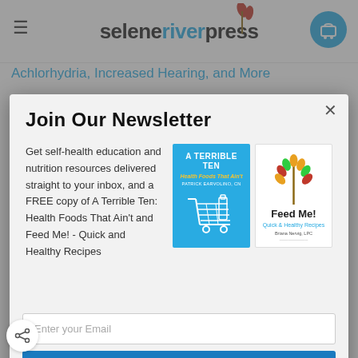[Figure (screenshot): Selene River Press website navigation bar with hamburger menu, logo, wheat icon, and cart button]
Achlorhydria, Increased Hearing, and More
Join Our Newsletter
Get self-health education and nutrition resources delivered straight to your inbox, and a FREE copy of A Terrible Ten: Health Foods That Ain't and Feed Me! - Quick and Healthy Recipes
[Figure (photo): Two book covers: 'A Terrible Ten: Health Foods That Ain't' by Patrick Earvolino, CN (blue cover) and 'Feed Me! Quick and Healthy Recipes' (white cover with wheat illustration)]